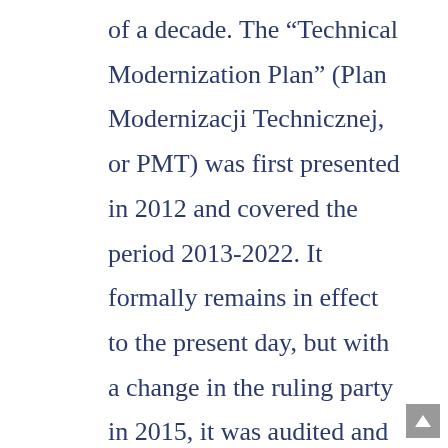of a decade. The “Technical Modernization Plan” (Plan Modernizacji Technicznej, or PMT) was first presented in 2012 and covered the period 2013-2022. It formally remains in effect to the present day, but with a change in the ruling party in 2015, it was audited and modified. The initial plan was determined to have underestimated procurement costs by half, which has